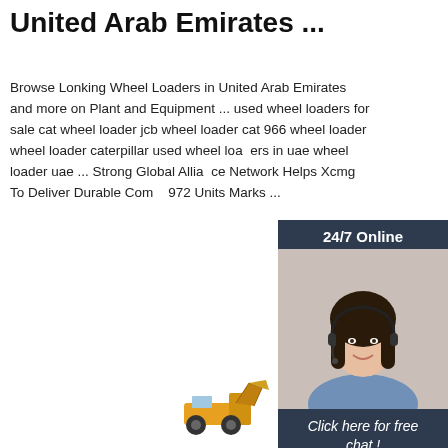Lonking Wheel Loaders For Sale In United Arab Emirates ...
Browse Lonking Wheel Loaders in United Arab Emirates and more on Plant and Equipment ... used wheel loaders for sale cat wheel loader jcb wheel loader cat 966 wheel loader wheel loader caterpillar used wheel loaders in uae wheel loader uae ... Strong Global Alliance Network Helps Xcmg To Deliver Durable Comm 972 Units Marks ...
[Figure (other): Chat widget with 24/7 Online banner, woman with headset photo, 'Click here for free chat!' text, and QUOTATION button]
Get Price
[Figure (photo): Small equipment/wheel loader image at bottom center of page]